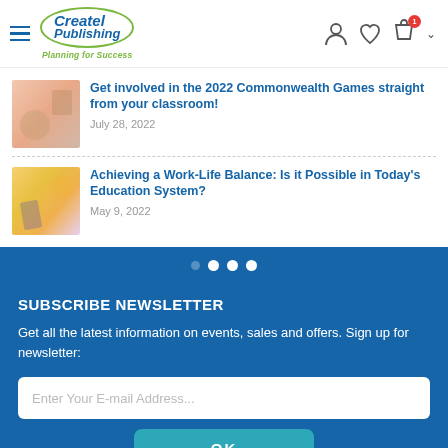[Figure (screenshot): Createl Publishing website header with hamburger menu, logo, and icons for user, wishlist, cart, and dropdown]
Get involved in the 2022 Commonwealth Games straight from your classroom!
July 28, 2022
Achieving a Work-Life Balance: Is it Possible in Today's Education System?
May 9, 2022
SUBSCRIBE NEWSLETTER
Get all the latest information on events, sales and offers. Sign up for newsletter:
Enter Your E-mail Address...
OK